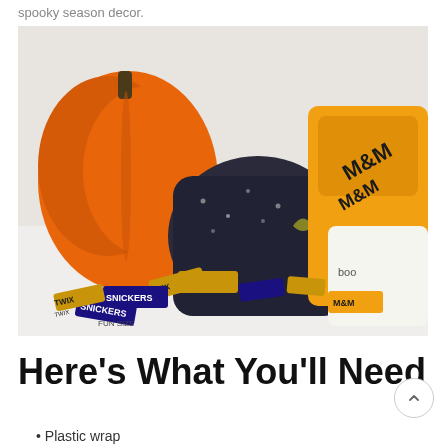spooky season decor.
[Figure (photo): Halloween candy including Snickers, Twix, and M&Ms mini bars spilling out of decorative Halloween bags/cornucopias, with an orange pumpkin in the background, on a white surface.]
Here's What You'll Need
Plastic wrap